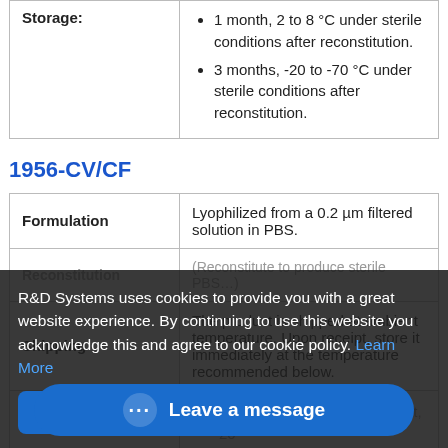|  |  |
| --- | --- |
| Storage: | 1 month, 2 to 8 °C under sterile conditions after reconstitution.
3 months, -20 to -70 °C under sterile conditions after reconstitution. |
1956-CV/CF
|  |  |
| --- | --- |
| Formulation | Lyophilized from a 0.2 µm filtered solution in PBS. |
| Reconstitution | (partially obscured) sterile PBS. |
| Shipping | The product is shipped at ambient temperature. Upon receipt, store it immediately at the temperature recommended below. |
|  | 12 months from date of receipt, -20 (partially visible) |
R&D Systems uses cookies to provide you with a great website experience. By continuing to use this website you acknowledge this and agree to our cookie policy. Learn More
Leave a message